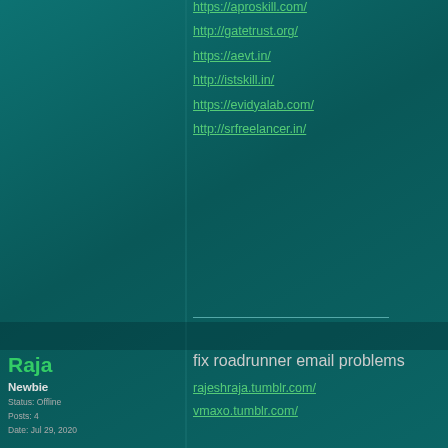https://aproskill.com/
http://gatetrust.org/
https://aevt.in/
http://istskill.in/
https://evidyalab.com/
http://srfreelancer.in/
Raja
Newbie
Status: Offline
Posts: 4
Date: Jul 29, 2020
fix roadrunner email problems
rajeshraja.tumblr.com/
vmaxo.tumblr.com/
Sony99
Veteran Member
Status: Offline
Nice Artical Thanks This Post Sha